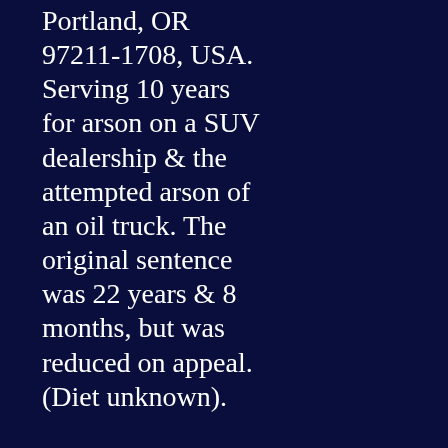Portland, OR 97211-1708, USA. Serving 10 years for arson on a SUV dealership & the attempted arson of an oil truck. The original sentence was 22 years & 8 months, but was reduced on appeal. (Diet unknown).
Marie Jeanette Mason, #04672-061, FCI Waseca, Federal Correctional Institution, PO Box 1731, Waseca, MN 56093, USA. Serving 21 years and 10 months for